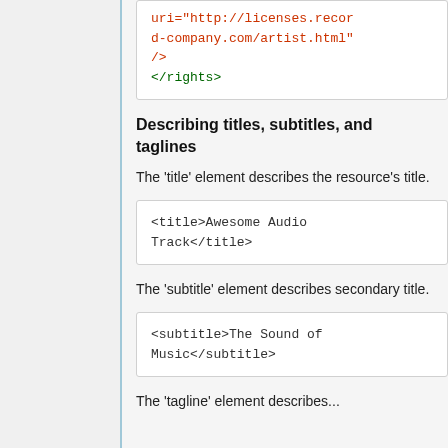uri="http://licenses.record-company.com/artist.html" />
</rights>
Describing titles, subtitles, and taglines
The 'title' element describes the resource's title.
<title>Awesome Audio Track</title>
The 'subtitle' element describes secondary title.
<subtitle>The Sound of Music</subtitle>
The 'tagline' element describes...